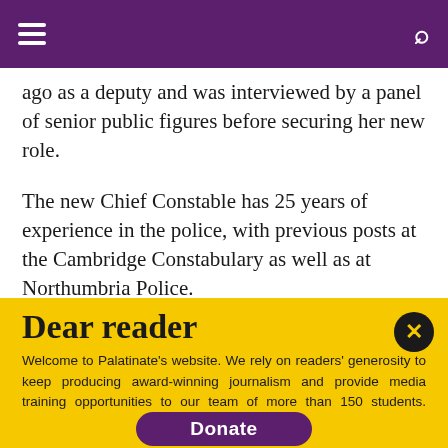≡  [hamburger menu]   [search icon]
ago as a deputy and was interviewed by a panel of senior public figures before securing her new role.
The new Chief Constable has 25 years of experience in the police, with previous posts at the Cambridge Constabulary as well as at Northumbria Police.
Dear reader
Welcome to Palatinate's website. We rely on readers' generosity to keep producing award-winning journalism and provide media training opportunities to our team of more than 150 students. Palatinate has produced some of the biggest names in British media, from Jeremy Vine to the late great Sir Harold Evans. Every contribution to Palatinate is an investment into the future of journalism.
Donate